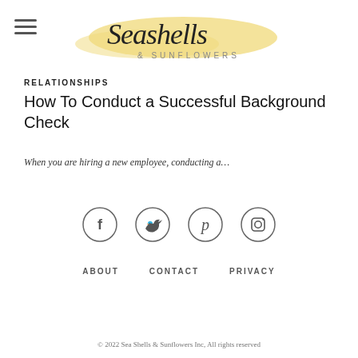[Figure (logo): Seashells & Sunflowers logo with script text and yellow brushstroke background]
RELATIONSHIPS
How To Conduct a Successful Background Check
When you are hiring a new employee, conducting a…
[Figure (other): Social media icons row: Facebook, Twitter, Pinterest, Instagram (circle outline icons)]
ABOUT   CONTACT   PRIVACY
© 2022 Sea Shells & Sunflowers Inc, All rights reserved